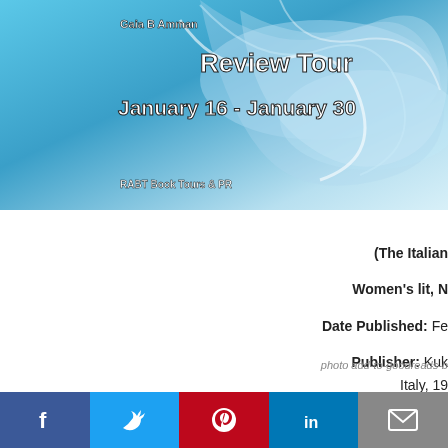[Figure (illustration): Book review tour banner with swirling blue watercolor design. Text: 'Gaia B Amman', 'Review Tour', 'January 16 - January 30', 'RABT Book Tours & PR']
(The Italian
Women's lit, N
Date Published: Fe
Publisher: Kuk
[Figure (other): Broken image placeholder: 'photo add-to-goodreads-b']
Italy, 19
What does it take fo
happy? Not a man, lik
Loda Balpi was rai
[Figure (other): Social media share bar with Facebook (f), Twitter (bird), Pinterest (P), LinkedIn (in), Email (envelope) buttons]